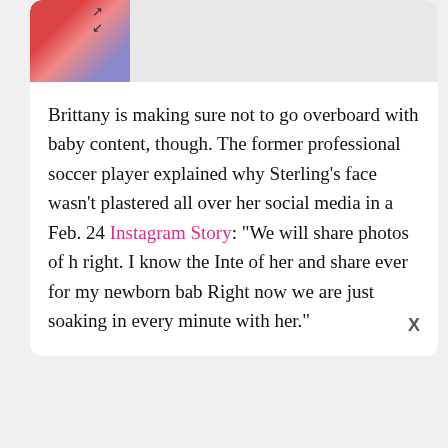[Figure (photo): Partial photo visible at top of card, showing a person with reddish/pink tones, with an expand icon overlay]
Brittany is making sure not to go overboard with baby content, though. The former professional soccer player explained why Sterling’s face wasn’t plastered all over her social media in a Feb. 24 Instagram Story: “We will share photos of h[er when the time is] right. I know the Inte[rnet wants photos] of her and share ever[ything but I want] for my newborn bab[y to have privacy.] Right now we are just soaking in every minute with her.”